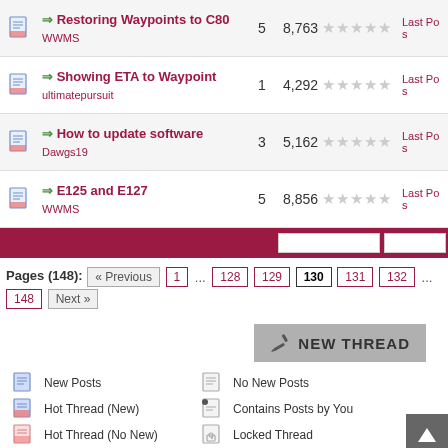→ Restoring Waypoints to C80 | WWMS | replies: 5 | views: 8,763 | Last Post
→ Showing ETA to Waypoint | ultimatepursuit | replies: 1 | views: 4,292 | Last Post
→ How to update software | Dawgs19 | replies: 3 | views: 5,162 | Last Post
→ E125 and E127 | WWMS | replies: 5 | views: 8,856 | Last Post
Pages (148): « Previous  1  ...  128  129  130  131  132  ...  148  Next »
NEW THREAD
New Posts
No New Posts
Hot Thread (New)
Contains Posts by You
Hot Thread (No New)
Locked Thread